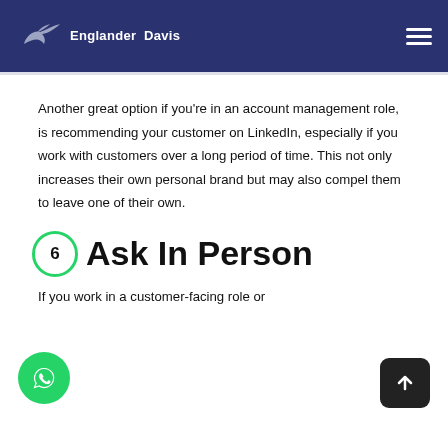Englander Davis
Another great option if you're in an account management role, is recommending your customer on LinkedIn, especially if you work with customers over a long period of time. This not only increases their own personal brand but may also compel them to leave one of their own.
Ask In Person
If you work in a customer-facing role or